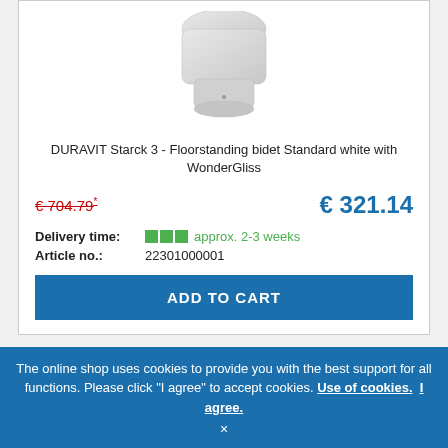[Figure (photo): Top portion of a white floor-standing bidet (Duravit Starck 3), showing the rear and base of the ceramic fixture against white background]
DURAVIT Starck 3 - Floorstanding bidet Standard white with WonderGliss
€ 704.79* (crossed out, red) | € 321.14 (blue, large)
Delivery time: approx. 2-3 weeks
Article no.: 22301000001
ADD TO CART
[Figure (logo): DURAVIT logo text with strikethrough, partially visible in second product card]
-54%
The online shop uses cookies to provide you with the best support for all functions. Please click "I agree" to accept cookies. Use of cookies. I agree.
×